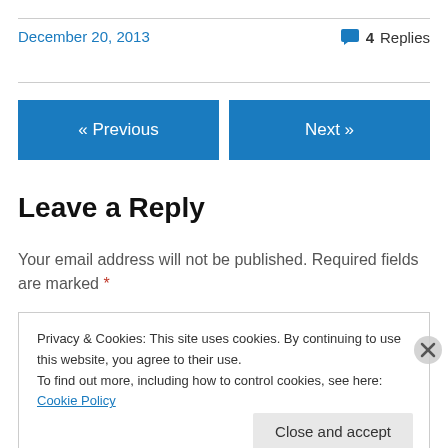December 20, 2013
4 Replies
« Previous
Next »
Leave a Reply
Your email address will not be published. Required fields are marked *
Privacy & Cookies: This site uses cookies. By continuing to use this website, you agree to their use.
To find out more, including how to control cookies, see here: Cookie Policy
Close and accept